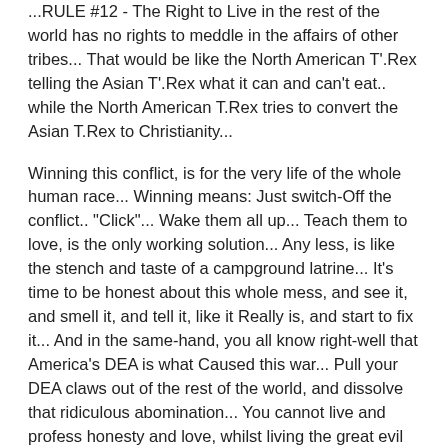...RULE #12 - The Right to Live in the rest of the world has no rights to meddle in the affairs of other tribes... That would be like the North American T'.Rex telling the Asian T'.Rex what it can and can't eat.. while the North American T.Rex tries to convert the Asian T.Rex to Christianity...
Winning this conflict, is for the very life of the whole human race... Winning means: Just switch-Off the conflict.. "Click"... Wake them all up... Teach them to love, is the only working solution... Any less, is like the stench and taste of a campground latrine... It's time to be honest about this whole mess, and see it, and smell it, and tell it, like it Really is, and start to fix it... And in the same-hand, you all know right-well that America's DEA is what Caused this war... Pull your DEA claws out of the rest of the world, and dissolve that ridiculous abomination... You cannot live and profess honesty and love, whilst living the great evil militarized DEA cancerous Christian-lie, which holds the whole world in mindless parasitic Slavery, for money, and for the perpetual meal of the life-essences of the blinded numbed